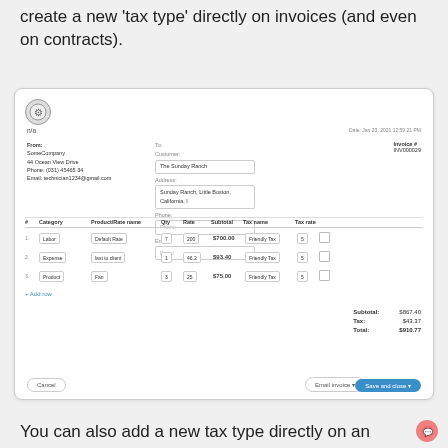create a new 'tax type' directly on invoices (and even on contracts).
[Figure (screenshot): Screenshot of an invoice UI showing a form with customer fields (Customer: The Sunday Ranch, Address: Sunday Ranch, Little Boston, California), line items table with Labor/Default Rate/7/200/$700.00/Friendly Tax/5, Expense/last to client/1/46.2/$93.40/Friendly Tax/5, Product/Fan/3/25/$75.00/Friendly Tax/5, subtotal $867.40, Tax $43.37, Total $910.77, and buttons: Cancel, Email invoice, Save and close.]
You can also add a new tax type directly on an